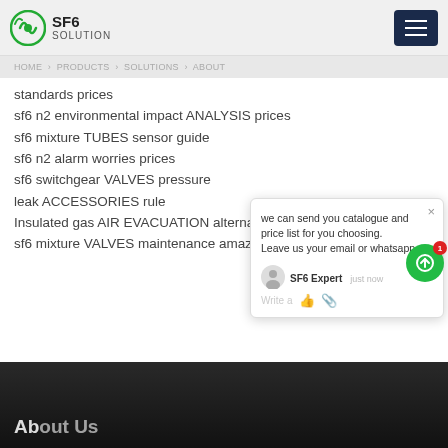SF6 SOLUTION
standards prices
sf6 n2 environmental impact ANALYSIS prices
sf6 mixture TUBES sensor guide
sf6 n2 alarm worries prices
sf6 switchgear VALVES pressure
leak ACCESSORIES rule
Insulated gas AIR EVACUATION alternative al industry
sf6 mixture VALVES maintenance amazon
[Figure (screenshot): Chat popup widget with SF6 Expert avatar, text reading: we can send you catalogue and price list for you choosing. Leave us your email or whatsapp. SF6 Expert, just now. Write a message input area with like and attachment icons.]
[Figure (photo): Dark section at the bottom of the page showing a dimly lit industrial/workshop scene]